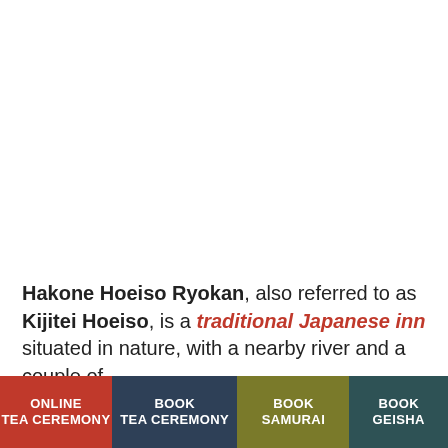[Figure (photo): Large photograph of Hakone Hoeiso Ryokan (image area, appears white/blank in this crop)]
Hakone Hoeiso Ryokan, also referred to as Kijitei Hoeiso, is a traditional Japanese inn situated in nature, with a nearby river and a couple of
ONLINE TEA CEREMONY
BOOK TEA CEREMONY
BOOK SAMURAI
BOOK GEISHA